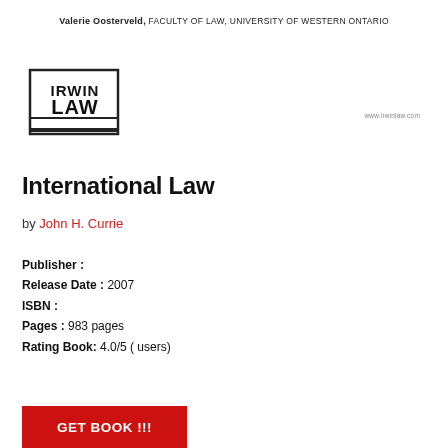Valerie Oosterveld, FACULTY OF LAW, UNIVERSITY OF WESTERN ONTARIO
[Figure (logo): Irwin Law publisher logo with stylized text 'IRWIN LAW' inside a rectangular border with a horizontal line at bottom]
www.irwinlaw.com (website URL)
International Law
by John H. Currie
Publisher :
Release Date : 2007
ISBN :
Pages : 983 pages
Rating Book: 4.0/5 ( users)
GET BOOK !!!